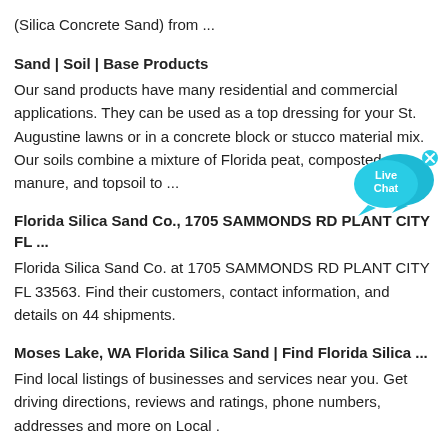(Silica Concrete Sand) from ...
Sand | Soil | Base Products
Our sand products have many residential and commercial applications. They can be used as a top dressing for your St. Augustine lawns or in a concrete block or stucco material mix. Our soils combine a mixture of Florida peat, composted manure, and topsoil to ...
[Figure (illustration): Live Chat widget — two overlapping speech bubbles in blue with white text 'Live Chat' and an X close button]
Florida Silica Sand Co., 1705 SAMMONDS RD PLANT CITY FL ...
Florida Silica Sand Co. at 1705 SAMMONDS RD PLANT CITY FL 33563. Find their customers, contact information, and details on 44 shipments.
Moses Lake, WA Florida Silica Sand | Find Florida Silica ...
Find local listings of businesses and services near you. Get driving directions, reviews and ratings, phone numbers, addresses and more on Local .